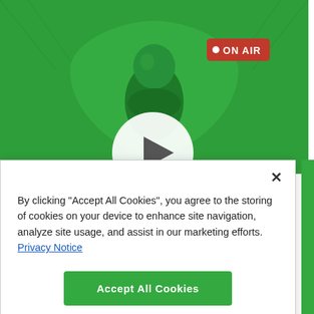[Figure (illustration): Green background illustration showing a green cartoon character/figure on a shield-shaped background with an 'ON AIR' red badge. A large white circular play button is overlaid at the bottom center.]
×
By clicking "Accept All Cookies", you agree to the storing of cookies on your device to enhance site navigation, analyze site usage, and assist in our marketing efforts. Privacy Notice
Accept All Cookies
Cookies Settings